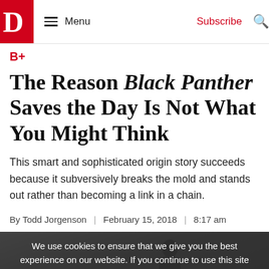D Menu | Subscribe
B+
The Reason Black Panther Saves the Day Is Not What You Might Think
This smart and sophisticated origin story succeeds because it subversively breaks the mold and stands out rather than becoming a link in a chain.
By Todd Jorgenson  |  February 15, 2018  |  8:17 am
[Figure (photo): Dark silhouetted figure against a stormy sky, partially obscured by a cookie consent overlay.]
We use cookies to ensure that we give you the best experience on our website. If you continue to use this site we will assume that you are happy with it.
GOT IT!